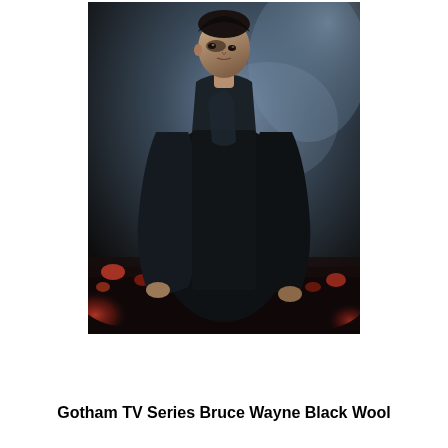[Figure (photo): Promotional photo of a man in a long black wool coat standing against a dramatic dark smoky background with red/orange fire embers on the ground. The figure faces slightly to the side, hands at sides, with a serious expression. The image resembles a superhero/character promotional poster for the Gotham TV Series, depicting Bruce Wayne.]
Gotham TV Series Bruce Wayne Black Wool